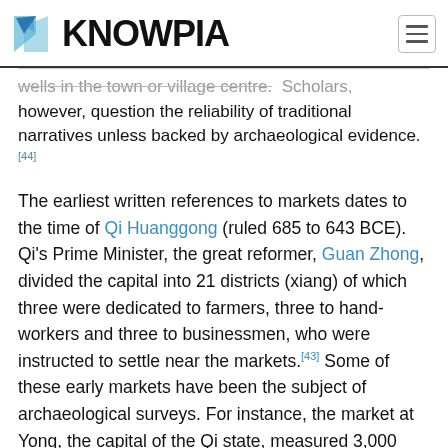KNOWPIA
wells in the town or village centre. Scholars, however, question the reliability of traditional narratives unless backed by archaeological evidence.[44]
The earliest written references to markets dates to the time of Qi Huanggong (ruled 685 to 643 BCE). Qi's Prime Minister, the great reformer, Guan Zhong, divided the capital into 21 districts (xiang) of which three were dedicated to farmers, three to hand-workers and three to businessmen, who were instructed to settle near the markets.[43] Some of these early markets have been the subject of archaeological surveys. For instance, the market at Yong, the capital of the Qi state, measured 3,000 square metres and was an outdoor market.[45]